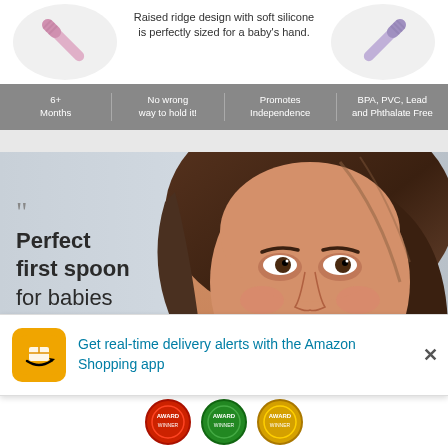Raised ridge design with soft silicone is perfectly sized for a baby's hand.
6+ Months | No wrong way to hold it! | Promotes Independence | BPA, PVC, Lead and Phthalate Free
[Figure (photo): Smiling woman with brown hair, with overlaid text: Perfect first spoon for babies learning to self-feed.]
Perfect first spoon for babies learning to self-feed.
Get real-time delivery alerts with the Amazon Shopping app
[Figure (infographic): Award badges at bottom of page]